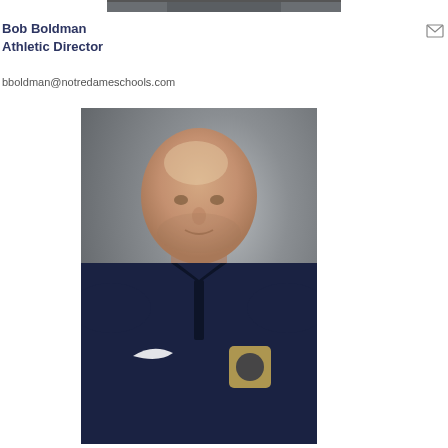[Figure (photo): Top portion of a photo visible at the very top of the page, partially cropped]
Bob Boldman
Athletic Director
bboldman@notredameschools.com
[Figure (photo): Professional headshot of Bob Boldman, Athletic Director, wearing a dark navy Notre Dame Nike pullover with a gold logo patch on the chest. He is bald, has a light beard, and is photographed against a grey background.]